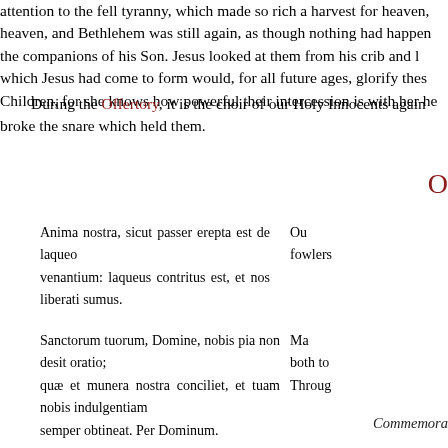attention to the fell tyranny, which made so rich a harvest for heaven, and Bethlehem was still again, as though nothing had happened the companions of his Son. Jesus looked at them from his crib and which Jesus had come to form would, for all future ages, glorify these Children, for she knows how powerful their intercession is with her he
During the Offertory, it is the choir of our Holy Innocents again broke the snare which held them.
O
Anima nostra, sicut passer erepta est de laqueo venantium: laqueus contritus est, et nos liberati sumus.
Our fowlers
Sanctorum tuorum, Domine, nobis pia non desit oratio; quæ et munera nostra conciliet, et tuam nobis indulgentiam semper obtineat. Per Dominum.
Ma both to Through
Commemora